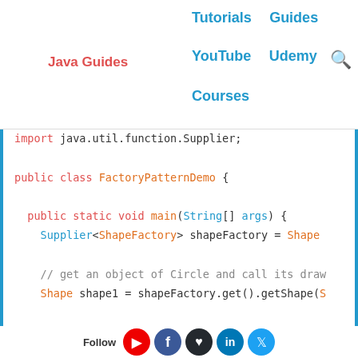Java Guides | Tutorials | Guides | YouTube | Udemy | Courses
[Figure (screenshot): Java code snippet showing FactoryPatternDemo class with import, class declaration, main method, Supplier ShapeFactory, shape1 creation and draw calls, with partial lines visible at bottom]
Follow social icons: YouTube, Facebook, GitHub, LinkedIn, Twitter